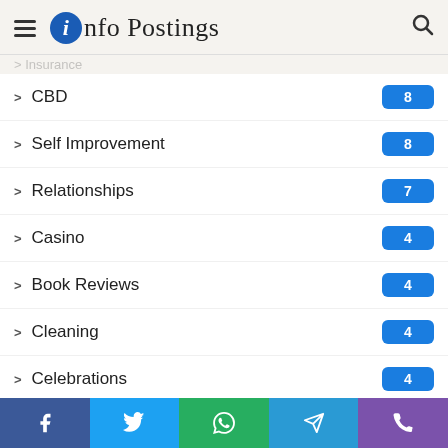Info Postings
CBD 8
Self Improvement 8
Relationships 7
Casino 4
Book Reviews 4
Cleaning 4
Celebrations 4
World 84
Travel 71
Games 7
Foods 8
Facebook Twitter WhatsApp Telegram Phone